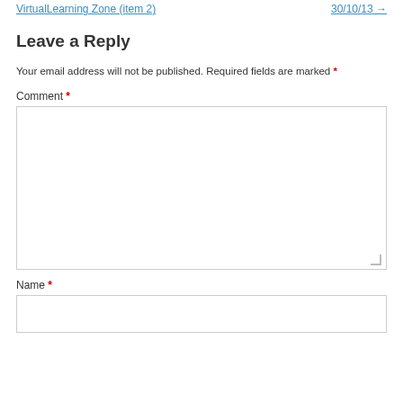VirtualLearning Zone (item 2)   30/10/13 →
Leave a Reply
Your email address will not be published. Required fields are marked *
Comment *
Name *